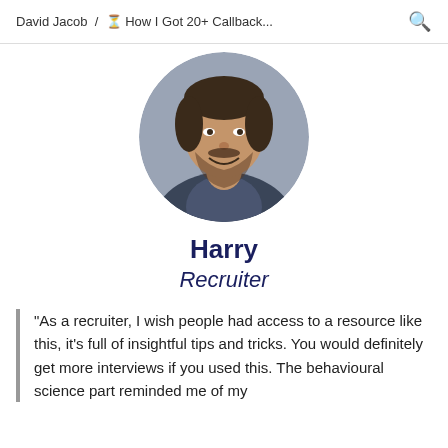David Jacob / 🕐 How I Got 20+ Callback...
[Figure (photo): Circular profile photo of a young man named Harry, smiling, wearing a dark blazer, cropped in a circle]
Harry
Recruiter
"As a recruiter, I wish people had access to a resource like this, it's full of insightful tips and tricks. You would definitely get more interviews if you used this. The behavioural science part reminded me of my